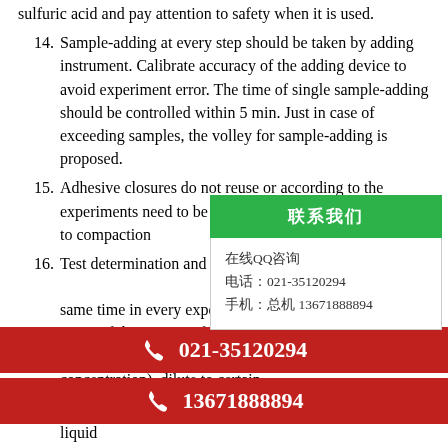sulfuric acid and pay attention to safety when it is used.
14. Sample-adding at every step should be taken by adding instrument. Calibrate accuracy of the adding device to avoid experiment error. The time of single sample-adding should be controlled within 5 min. Just in case of exceeding samples, the volley for sample-adding is proposed.
15. Adhesive closures do not reuse or according to the experiments need to be cropped. Stick a strip of adhesive to compaction
16. Test determination and standard should be done at the same time in every experiment, pores. If the content of test sample of the sample is higher than the concentration), dilute to certain (n times), then test the result an
[Figure (other): Green popup overlay with Chinese text header and contact information including QQ, phone 021-35120294, and mobile 13671888894]
[Figure (other): Red phone bar with phone icon and number 021-35120294]
[Figure (other): Red phone bar with phone icon and number 13671888894]
18. When washing board by plate washer, the volume of liquid